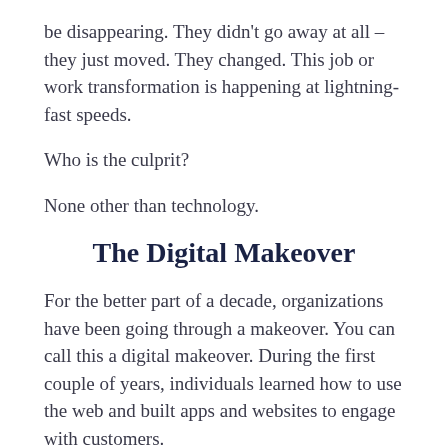be disappearing. They didn't go away at all – they just moved. They changed. This job or work transformation is happening at lightning-fast speeds.
Who is the culprit?
None other than technology.
The Digital Makeover
For the better part of a decade, organizations have been going through a makeover. You can call this a digital makeover. During the first couple of years, individuals learned how to use the web and built apps and websites to engage with customers.